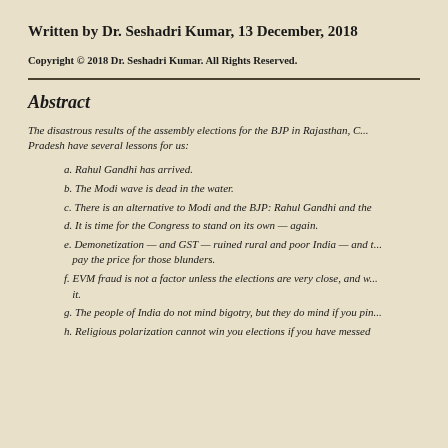Written by Dr. Seshadri Kumar, 13 December, 2018
Copyright © 2018 Dr. Seshadri Kumar. All Rights Reserved.
Abstract
The disastrous results of the assembly elections for the BJP in Rajasthan, C... Pradesh have several lessons for us:
a. Rahul Gandhi has arrived.
b. The Modi wave is dead in the water.
c. There is an alternative to Modi and the BJP: Rahul Gandhi and the...
d. It is time for the Congress to stand on its own — again.
e. Demonetization — and GST — ruined rural and poor India — and t... pay the price for those blunders.
f. EVM fraud is not a factor unless the elections are very close, and w... it.
g. The people of India do not mind bigotry, but they do mind if you pin...
h. Religious polarization cannot win you elections if you have messed...